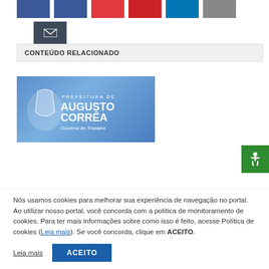[Figure (screenshot): Social media share buttons row (Twitter/blue, Facebook/dark blue, Google+/red, Pinterest/dark red, LinkedIn/light blue, gray button) and email button below]
CONTEÚDO RELACIONADO
[Figure (logo): Prefeitura de Augusto Corrêa - Governo do Trabalho logo on blue background]
[Figure (screenshot): Accessibility button (wheelchair icon) in green on right side]
Nós usamos cookies para melhorar sua experiência de navegação no portal. Ao utilizar nosso portal, você concorda com a política de monitoramento de cookies. Para ter mais informações sobre como isso é feito, acesse Política de cookies (Leia mais). Se você concorda, clique em ACEITO.
Leia mais   ACEITO